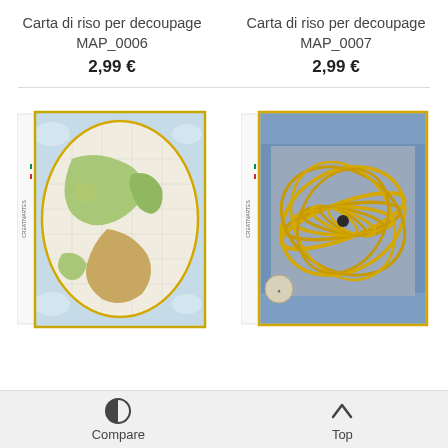Carta di riso per decoupage MAP_0006
2,99 €
Carta di riso per decoupage MAP_0007
2,99 €
[Figure (photo): Product image: MAP_0006 - antique world map decoupage rice paper with oval cartographic projection on white background, colorful illustration with decorative border]
[Figure (photo): Product image: MAP_0007 - astronomical/celestial map decoupage rice paper showing golden orbital rings/armillary sphere on detailed background]
Compare    Top